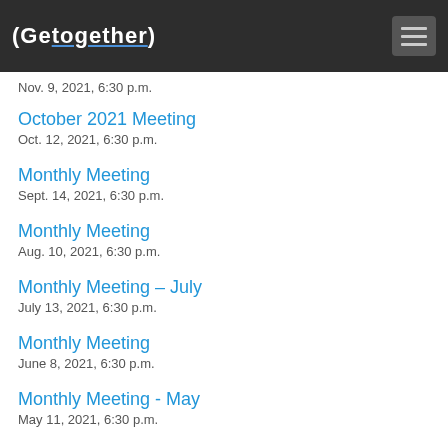(Gettogether)
Nov. 9, 2021, 6:30 p.m.
October 2021 Meeting
Oct. 12, 2021, 6:30 p.m.
Monthly Meeting
Sept. 14, 2021, 6:30 p.m.
Monthly Meeting
Aug. 10, 2021, 6:30 p.m.
Monthly Meeting – July
July 13, 2021, 6:30 p.m.
Monthly Meeting
June 8, 2021, 6:30 p.m.
Monthly Meeting - May
May 11, 2021, 6:30 p.m.